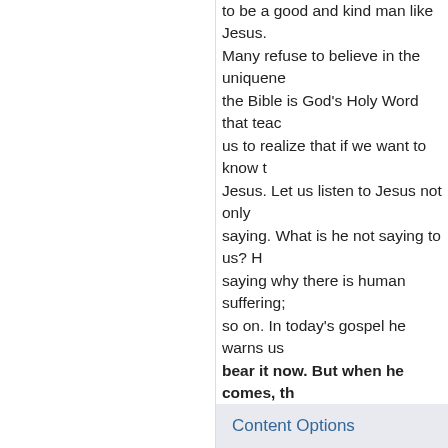to be a good and kind man like Jesus. Many refuse to believe in the uniqueness of the Bible is God's Holy Word that teaches us to realize that if we want to know the truth about Jesus. Let us listen to Jesus not only saying. What is he not saying to us? He is saying why there is human suffering; and so on. In today's gospel he warns us "you cannot bear it now. But when he comes, the Spirit of truth." In other words, to those who humble reveal the things hidden from the learned...
Let us pray always like Saint Arnold Janssen, Word Missionaries, who said, "May the darkness vanish before the light of the Word and may it live in the hearts of all."
(P) Amen.
God Bless You!
Content Options